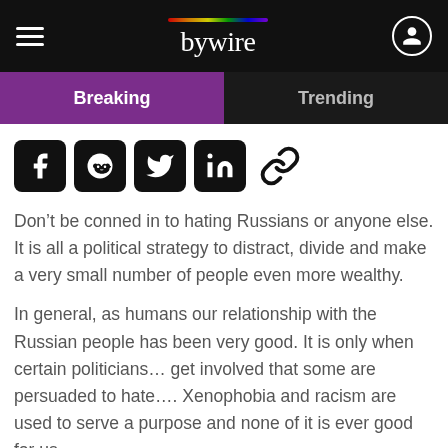bywire
Breaking | Trending
[Figure (other): Social sharing icons: Facebook, Reddit, Twitter, LinkedIn, Link]
Don’t be conned in to hating Russians or anyone else. It is all a political strategy to distract, divide and make a very small number of people even more wealthy.
In general, as humans our relationship with the Russian people has been very good. It is only when certain politicians… get involved that some are persuaded to hate…. Xenophobia and racism are used to serve a purpose and none of it is ever good for us.